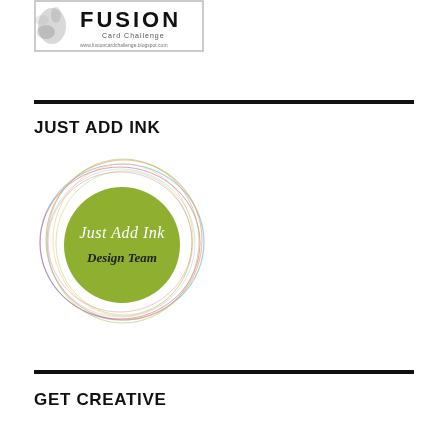[Figure (logo): Fusion Card Challenge logo with decorative text and website URL www.fusioncardchallenge.blogspot.com]
JUST ADD INK
[Figure (logo): Just Add Ink Design Team circular logo with green center circle and colorful swirling rings around it]
GET CREATIVE